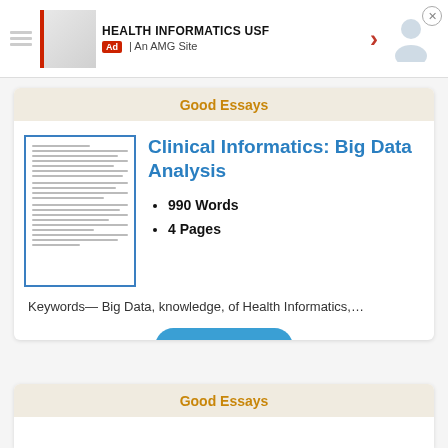[Figure (screenshot): Ad banner: HEALTH INFORMATICS USF, An AMG Site, with red arrow and person icon]
Good Essays
[Figure (illustration): Thumbnail preview of a document page with text lines]
Clinical Informatics: Big Data Analysis
990 Words
4 Pages
Keywords— Big Data, knowledge, of Health Informatics,…
Preview
Good Essays